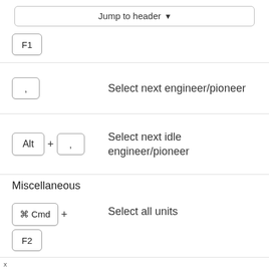[Figure (screenshot): Jump to header dropdown button]
F1 — (keyboard shortcut, top row, partial)
, — Select next engineer/pioneer
Alt + , — Select next idle engineer/pioneer
Miscellaneous
⌘ Cmd + F2 — Select all units
Select all units on the (partial, cut off)